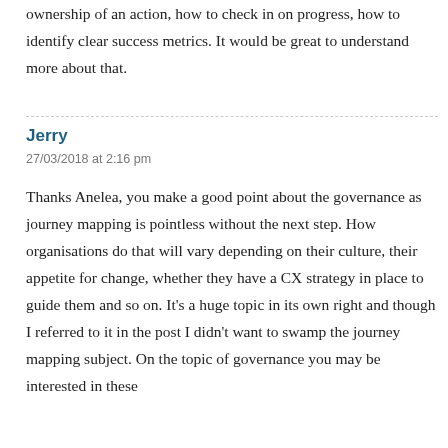ownership of an action, how to check in on progress, how to identify clear success metrics. It would be great to understand more about that.
Jerry
27/03/2018 at 2:16 pm
Thanks Anelea, you make a good point about the governance as journey mapping is pointless without the next step. How organisations do that will vary depending on their culture, their appetite for change, whether they have a CX strategy in place to guide them and so on. It's a huge topic in its own right and though I referred to it in the post I didn't want to swamp the journey mapping subject. On the topic of governance you may be interested in these